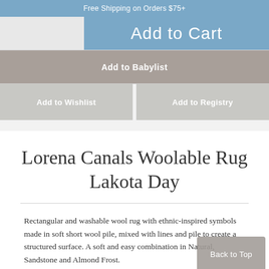Free Shipping on Orders $75+
[Figure (screenshot): Add to Cart button area with quantity box on the left and blue Add to Cart button on the right]
Add to Babylist
Add to Wishlist
Add to Registry
Lorena Canals Woolable Rug Lakota Day
Rectangular and washable wool rug with ethnic-inspired symbols made in soft short wool pile, mixed with lines and pile to create a structured surface. A soft and easy combination in Natural, Sandstone and Almond Frost.
Back to Top